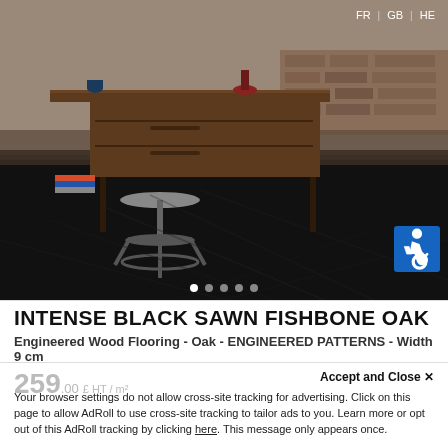[Figure (photo): Interior room photo showing a wooden desk with drawers and a metal industrial stool on a dark black herringbone/fishbone patterned oak floor, against a distressed brick and plaster wall background.]
FR | GB | HE
INTENSE BLACK SAWN FISHBONE OAK
Engineered Wood Flooring - Oak - ENGINEERED PATTERNS - Width 9 cm
259.00 HT / m²
Accept and Close ×
Your browser settings do not allow cross-site tracking for advertising. Click on this page to allow AdRoll to use cross-site tracking to tailor ads to you. Learn more or opt out of this AdRoll tracking by clicking here. This message only appears once.